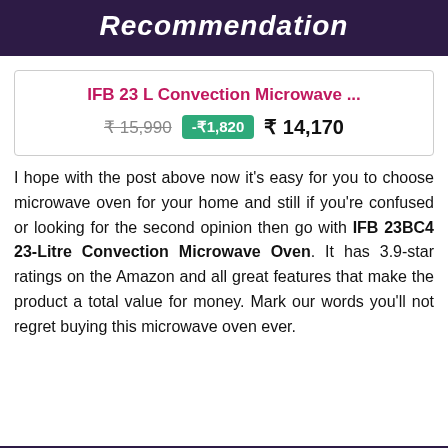Recommendation
[Figure (other): Product card for IFB 23 L Convection Microwave showing original price ₹15,990, discount -₹1,820, and final price ₹14,170]
I hope with the post above now it's easy for you to choose microwave oven for your home and still if you're confused or looking for the second opinion then go with IFB 23BC4 23-Litre Convection Microwave Oven. It has 3.9-star ratings on the Amazon and all great features that make the product a total value for money. Mark our words you'll not regret buying this microwave oven ever.